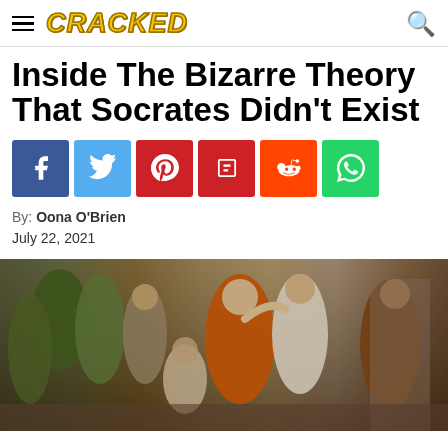CRACKED
Inside The Bizarre Theory That Socrates Didn't Exist
[Figure (infographic): Six social media share buttons: Facebook (dark blue), Twitter (light blue), Pinterest (red), Flipboard (red), Reddit (orange-red), WhatsApp (green)]
By:  Oona O'Brien
July 22, 2021
[Figure (photo): A classical painting depicting a group of ancient Greek philosophers in robes gathered together, with a central figure in orange/red robes gesturing while others listen attentively.]